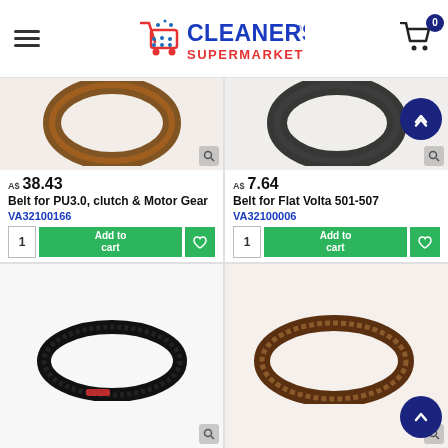Cleaners Supermarket
[Figure (photo): Product photo of Belt for PU3.0, clutch & Motor Gear - round belt, brown/dark color]
A$ 38.43
Belt for PU3.0, clutch & Motor Gear
VA32100166
1  Add to cart ♡
[Figure (photo): Product photo of Belt for Flat Volta 501-507 - round belt, dark color]
A$ 7.64
Belt for Flat Volta 501-507
VA32100006
1  Add to cart ♡
[Figure (photo): Product photo of a flat toothed belt, oval shaped, black]
[Figure (photo): Product photo of a flat toothed belt, oval shaped, brown/dark, larger]